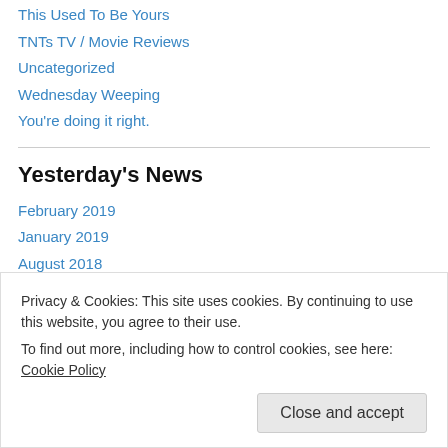This Used To Be Yours
TNTs TV / Movie Reviews
Uncategorized
Wednesday Weeping
You're doing it right.
Yesterday's News
February 2019
January 2019
August 2018
July 2018
June 2018
Privacy & Cookies: This site uses cookies. By continuing to use this website, you agree to their use.
To find out more, including how to control cookies, see here: Cookie Policy